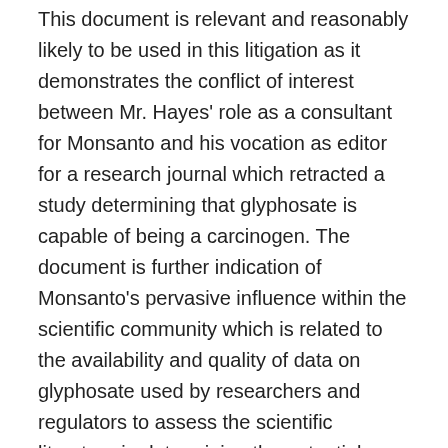This document is relevant and reasonably likely to be used in this litigation as it demonstrates the conflict of interest between Mr. Hayes' role as a consultant for Monsanto and his vocation as editor for a research journal which retracted a study determining that glyphosate is capable of being a carcinogen. The document is further indication of Monsanto's pervasive influence within the scientific community which is related to the availability and quality of data on glyphosate used by researchers and regulators to assess the scientific literature in determining the potential carcinogenicity of glyphosate. The reliability and consensus of scientific literature is directly relevant to general causation. This document also goes to witness credibility.
Email Confirming Monsanto's Intention to Pay Wallace Hayes (Editor of Food and Chemical Toxicology) as